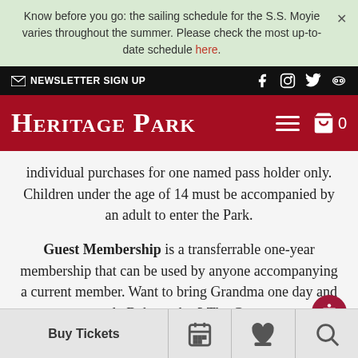Know before you go: the sailing schedule for the S.S. Moyie varies throughout the summer. Please check the most up-to-date schedule here.
✉ NEWSLETTER SIGN UP  f  [instagram]  [twitter]  [tripadvisor]
HERITAGE PARK
individual purchases for one named pass holder only. Children under the age of 14 must be accompanied by an adult to enter the Park.
Guest Membership is a transferrable one-year membership that can be used by anyone accompanying a current member. Want to bring Grandma one day and uncle Bob another? The Guest
Buy Tickets  [calendar icon]  [donate icon]  [search icon]